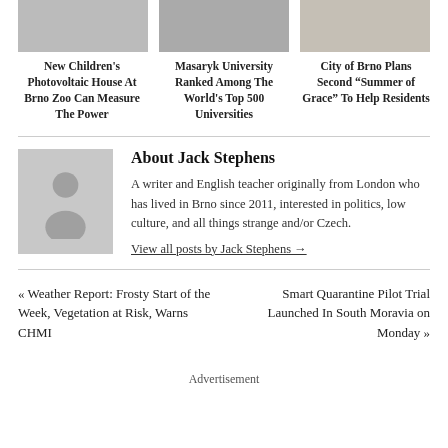[Figure (photo): Three article thumbnail images side by side at top]
New Children's Photovoltaic House At Brno Zoo Can Measure The Power
Masaryk University Ranked Among The World's Top 500 Universities
City of Brno Plans Second “Summer of Grace” To Help Residents
About Jack Stephens
A writer and English teacher originally from London who has lived in Brno since 2011, interested in politics, low culture, and all things strange and/or Czech.
View all posts by Jack Stephens →
« Weather Report: Frosty Start of the Week, Vegetation at Risk, Warns CHMI
Smart Quarantine Pilot Trial Launched In South Moravia on Monday »
Advertisement